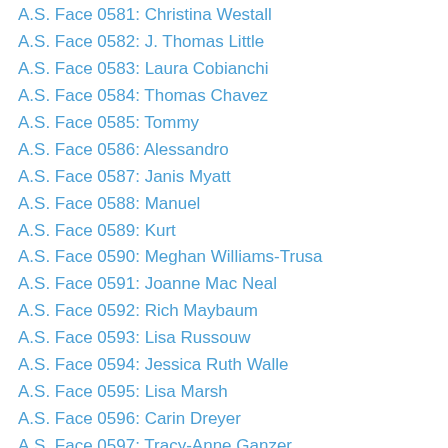A.S. Face 0581: Christina Westall
A.S. Face 0582: J. Thomas Little
A.S. Face 0583: Laura Cobianchi
A.S. Face 0584: Thomas Chavez
A.S. Face 0585: Tommy
A.S. Face 0586: Alessandro
A.S. Face 0587: Janis Myatt
A.S. Face 0588: Manuel
A.S. Face 0589: Kurt
A.S. Face 0590: Meghan Williams-Trusa
A.S. Face 0591: Joanne Mac Neal
A.S. Face 0592: Rich Maybaum
A.S. Face 0593: Lisa Russouw
A.S. Face 0594: Jessica Ruth Walle
A.S. Face 0595: Lisa Marsh
A.S. Face 0596: Carin Dreyer
A.S. Face 0597: Tracy-Anne Ganzer
A.S. Face 0598: Kimberly Kundinger
A.S. Face 0599: Kathryn Douglas
A.S. Face 0600: Cynthia Ashley